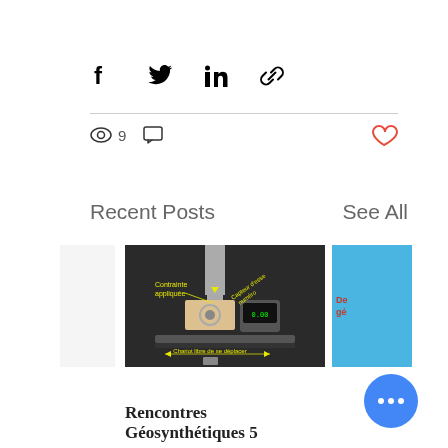[Figure (infographic): Social share buttons: Facebook, Twitter, LinkedIn, and link icons in a row]
9 views, 0 comments, like button
Recent Posts
See All
[Figure (photo): A geosynthetic testing apparatus with labels in French: Contrainte appliquée, Chariot libre de se déplacer]
Rencontres Géosynthétiques 5